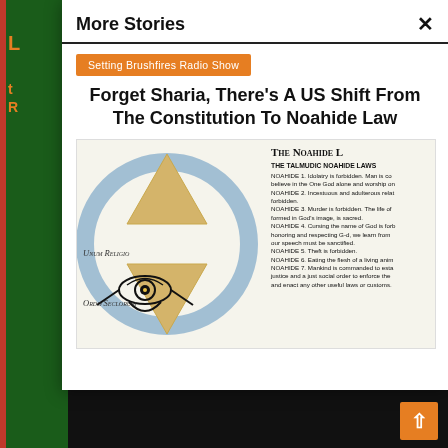More Stories
Setting Brushfires Radio Show
Forget Sharia, There's A US Shift From The Constitution To Noahide Law
[Figure (illustration): Image showing the Star of David overlaid with a blue circle and the Eye of Ra symbol, with Latin text 'Unum Religio' and 'Ordo Seclorum'. On the right side, text reads 'The Noahide Laws' and lists THE TALMUDIC NOAHIDE LAWS with 7 entries.]